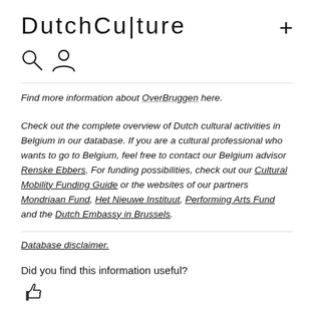DutchCulture
[Figure (other): Search icon and user/person icon in header navigation]
Find more information about OverBruggen here.
Check out the complete overview of Dutch cultural activities in Belgium in our database. If you are a cultural professional who wants to go to Belgium, feel free to contact our Belgium advisor Renske Ebbers. For funding possibilities, check out our Cultural Mobility Funding Guide or the websites of our partners Mondriaan Fund, Het Nieuwe Instituut, Performing Arts Fund and the Dutch Embassy in Brussels.
Database disclaimer.
Did you find this information useful?
[Figure (illustration): Thumbs up icon at the bottom of the page]